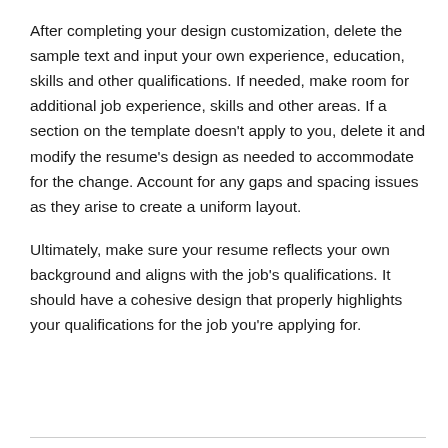After completing your design customization, delete the sample text and input your own experience, education, skills and other qualifications. If needed, make room for additional job experience, skills and other areas. If a section on the template doesn't apply to you, delete it and modify the resume's design as needed to accommodate for the change. Account for any gaps and spacing issues as they arise to create a uniform layout.
Ultimately, make sure your resume reflects your own background and aligns with the job's qualifications. It should have a cohesive design that properly highlights your qualifications for the job you're applying for.